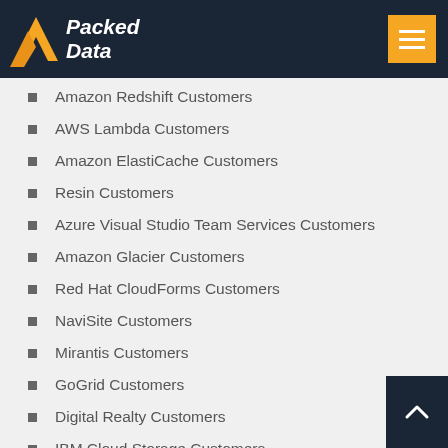Packed Data
Amazon Redshift Customers
AWS Lambda Customers
Amazon ElastiCache Customers
Resin Customers
Azure Visual Studio Team Services Customers
Amazon Glacier Customers
Red Hat CloudForms Customers
NaviSite Customers
Mirantis Customers
GoGrid Customers
Digital Realty Customers
IBM Cloud Storage Customers